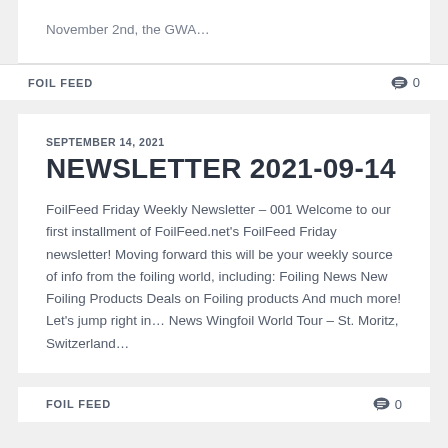November 2nd, the GWA…
FOIL FEED   0
SEPTEMBER 14, 2021
NEWSLETTER 2021-09-14
FoilFeed Friday Weekly Newsletter – 001 Welcome to our first installment of FoilFeed.net's FoilFeed Friday newsletter! Moving forward this will be your weekly source of info from the foiling world, including: Foiling News New Foiling Products Deals on Foiling products And much more! Let's jump right in… News Wingfoil World Tour – St. Moritz, Switzerland…
FOIL FEED   0